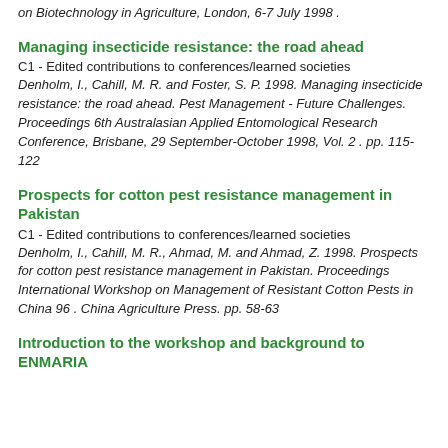on Biotechnology in Agriculture, London, 6-7 July 1998 .
Managing insecticide resistance: the road ahead
C1 - Edited contributions to conferences/learned societies
Denholm, I., Cahill, M. R. and Foster, S. P. 1998. Managing insecticide resistance: the road ahead. Pest Management - Future Challenges. Proceedings 6th Australasian Applied Entomological Research Conference, Brisbane, 29 September-October 1998, Vol. 2 . pp. 115-122
Prospects for cotton pest resistance management in Pakistan
C1 - Edited contributions to conferences/learned societies
Denholm, I., Cahill, M. R., Ahmad, M. and Ahmad, Z. 1998. Prospects for cotton pest resistance management in Pakistan. Proceedings International Workshop on Management of Resistant Cotton Pests in China 96 . China Agriculture Press. pp. 58-63
Introduction to the workshop and background to ENMARIA